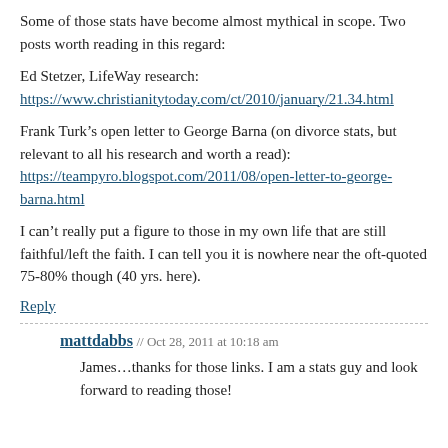Some of those stats have become almost mythical in scope. Two posts worth reading in this regard:
Ed Stetzer, LifeWay research:
https://www.christianitytoday.com/ct/2010/january/21.34.html
Frank Turk’s open letter to George Barna (on divorce stats, but relevant to all his research and worth a read):
https://teampyro.blogspot.com/2011/08/open-letter-to-george-barna.html
I can’t really put a figure to those in my own life that are still faithful/left the faith. I can tell you it is nowhere near the oft-quoted 75-80% though (40 yrs. here).
Reply
mattdabbs // Oct 28, 2011 at 10:18 am
James…thanks for those links. I am a stats guy and look forward to reading those!